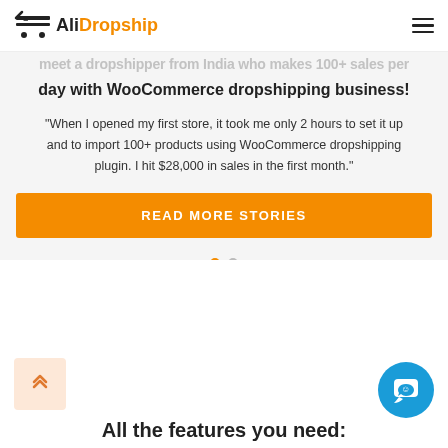AliDropship
day with WooCommerce dropshipping business!
"When I opened my first store, it took me only 2 hours to set it up and to import 100+ products using WooCommerce dropshipping plugin. I hit $28,000 in sales in the first month."
READ MORE STORIES
All the features you need: